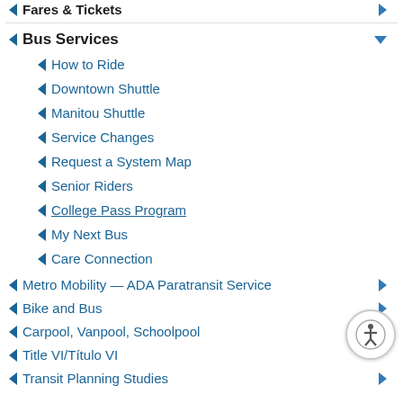Fares & Tickets
Bus Services
How to Ride
Downtown Shuttle
Manitou Shuttle
Service Changes
Request a System Map
Senior Riders
College Pass Program
My Next Bus
Care Connection
Metro Mobility — ADA Paratransit Service
Bike and Bus
Carpool, Vanpool, Schoolpool
Title VI/Título VI
Transit Planning Studies